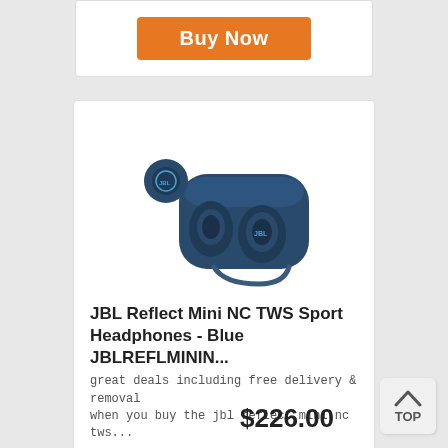[Figure (other): Orange 'Buy Now' button inside a white card at the top of the page]
[Figure (photo): JBL Reflect Mini NC TWS Sport Headphones in blue color — one earbud floating and a charging case with earbuds inside, connected by a cable]
JBL Reflect Mini NC TWS Sport Headphones - Blue JBLREFLMININ...
great deals including free delivery & removal when you buy the jbl reflect mini nc tws...
[Figure (logo): Appliances Online logo — teal circle with wave and text 'appliancesonline']
$226.00